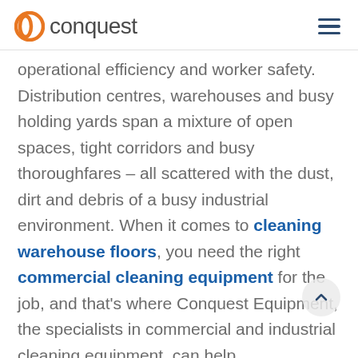conquest
operational efficiency and worker safety. Distribution centres, warehouses and busy holding yards span a mixture of open spaces, tight corridors and busy thoroughfares – all scattered with the dust, dirt and debris of a busy industrial environment. When it comes to cleaning warehouse floors, you need the right commercial cleaning equipment for the job, and that's where Conquest Equipment, the specialists in commercial and industrial cleaning equipment, can help.